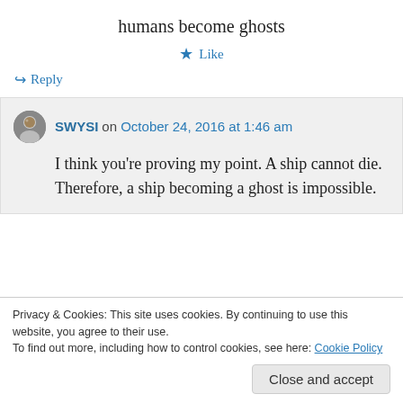humans become ghosts
★ Like
↪ Reply
SWYSI on October 24, 2016 at 1:46 am
I think you're proving my point. A ship cannot die. Therefore, a ship becoming a ghost is impossible.
Privacy & Cookies: This site uses cookies. By continuing to use this website, you agree to their use.
To find out more, including how to control cookies, see here: Cookie Policy
Close and accept